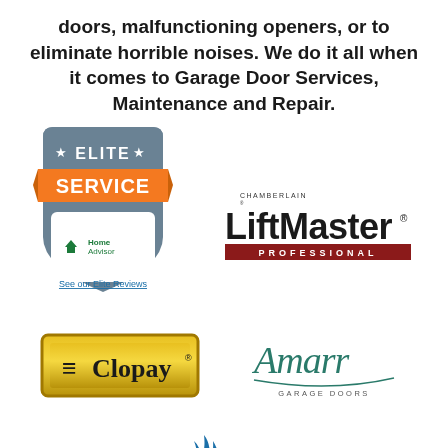doors, malfunctioning openers, or to eliminate horrible noises. We do it all when it comes to Garage Door Services, Maintenance and Repair.
[Figure (logo): HomeAdvisor Elite Service badge with orange SERVICE banner, grey shield shape, star accents, and 'See our Elite Reviews' link]
[Figure (logo): Chamberlain LiftMaster Professional logo in black and dark red]
[Figure (logo): Clopay logo on gold/yellow background with black text]
[Figure (logo): Amarr Garage Doors logo in teal/dark green italic font]
[Figure (logo): BBB (Better Business Bureau) logo with blue flame/torch icon and blue BBB letters partially visible]